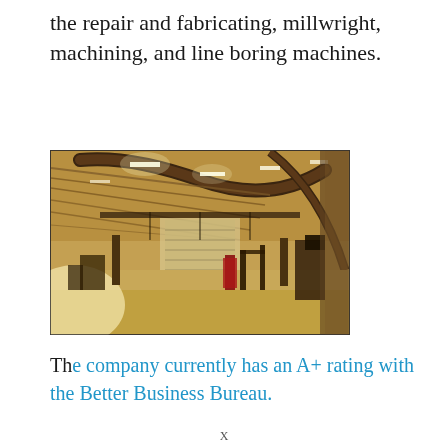the repair and fabricating, millwright, machining, and line boring machines.
[Figure (photo): Wide-angle interior photo of a large industrial workshop or fabrication facility with arched metal roof structure, concrete floor, fluorescent lighting, and various equipment and machinery along the walls.]
The company currently has an A+ rating with the Better Business Bureau.
X